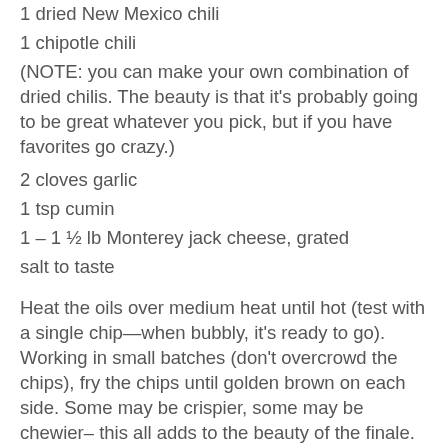1 dried New Mexico chili
1 chipotle chili
(NOTE: you can make your own combination of dried chilis. The beauty is that it's probably going to be great whatever you pick, but if you have favorites go crazy.)
2 cloves garlic
1 tsp cumin
1 – 1 ½ lb Monterey jack cheese, grated
salt to taste
Heat the oils over medium heat until hot (test with a single chip—when bubbly, it's ready to go). Working in small batches (don't overcrowd the chips), fry the chips until golden brown on each side. Some may be crispier, some may be chewier– this all adds to the beauty of the finale. Meanwhile, saute the diced onions until soft and brown. It is recommended to do this in two pans, because quite a bit gets added to the pan over the course of the recipe). Remove ALL seeds from ALL peppers by halving them with a knife and scrapping them out with your fingers or a knife.